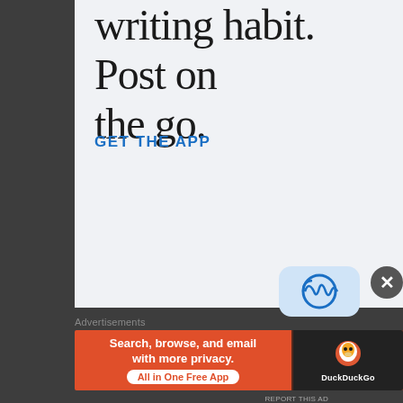writing habit. Post on the go.
GET THE APP
[Figure (logo): WordPress logo in a rounded blue square]
[Figure (screenshot): Close button X circle]
Advertisements
[Figure (screenshot): DuckDuckGo advertisement banner: Search, browse, and email with more privacy. All in One Free App. DuckDuckGo logo.]
REPORT THIS AD